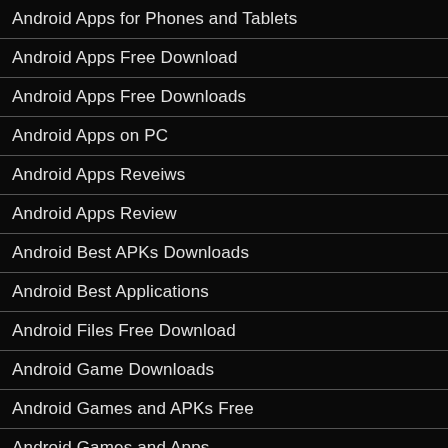Android Apps for Phones and Tablets
Android Apps Free Download
Android Apps Free Downloads
Android Apps on PC
Android Apps Reveiws
Android Apps Review
Android Best APKs Downloads
Android Best Applications
Android Files Free Download
Android Game Downloads
Android Games and APKs Free
Android Games and Apps
Android Games Downloads